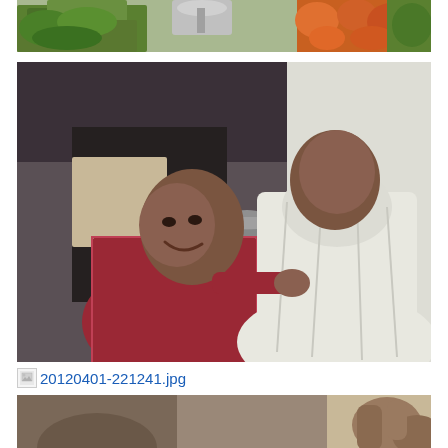[Figure (photo): Top portion of a vegetable/produce market scene showing green vegetables, carrots, and peppers displayed on a stand]
[Figure (photo): Two men greeting each other, one in a red/maroon fleece jacket and one in a white djellaba (traditional North African robe), with a third person visible in the background wearing a grey cap. Setting appears to be a market or street scene.]
20120401-221241.jpg
[Figure (photo): Partial view of a third photo at the bottom of the page, partially cut off, appears to show people outdoors]